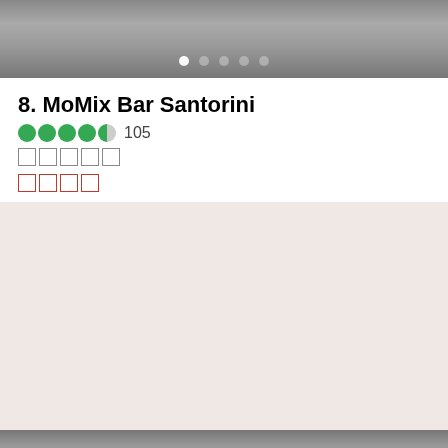[Figure (photo): Image carousel strip for MoMix Bar Santorini with navigation dots]
8. MoMix Bar Santorini
4.5 stars rating, 105 reviews
Category icons (5 boxes)
Price range icons (4 boxes in red)
[Figure (photo): Large image placeholder area with light pinkish-beige background for MoMix Bar Santorini]
[Figure (photo): Image carousel strip bottom with navigation dots]
9. Kira Thira Jazz Bar